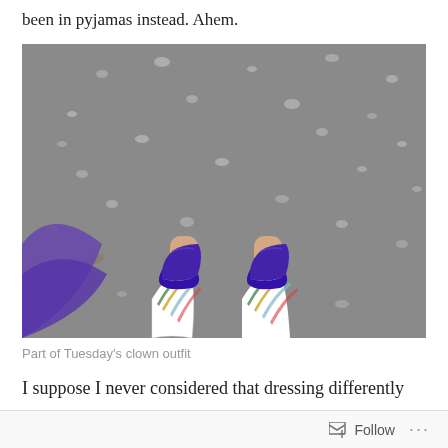been in pyjamas instead. Ahem.
[Figure (photo): Overhead view of a person's feet wearing purple suede shoes, with colorful patterned trousers/skirt, standing on a grey gravel/asphalt surface. A purple fabric is visible at the lower left.]
Part of Tuesday's clown outfit
I suppose I never considered that dressing differently
could affect my mood. That stepping outside a comfort
Follow